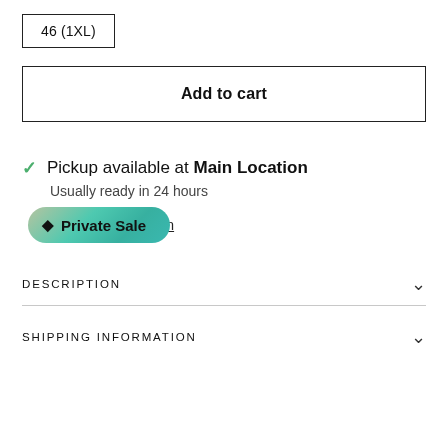46 (1XL)
Add to cart
Pickup available at Main Location
Usually ready in 24 hours
Private Sale
mation
DESCRIPTION
SHIPPING INFORMATION